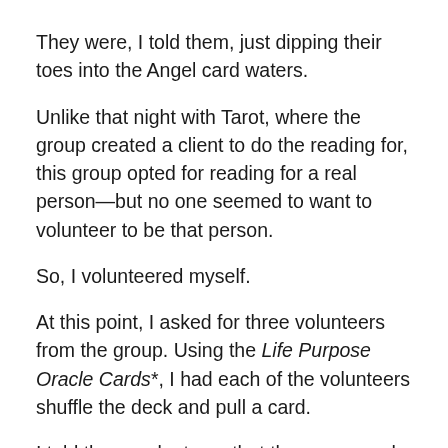They were, I told them, just dipping their toes into the Angel card waters.
Unlike that night with Tarot, where the group created a client to do the reading for, this group opted for reading for a real person—but no one seemed to want to volunteer to be that person.
So, I volunteered myself.
At this point, I asked for three volunteers from the group. Using the Life Purpose Oracle Cards*, I had each of the volunteers shuffle the deck and pull a card.
I told these volunteers that they were each conducting one part of the reading: The first person's card would tell us about my situation; the second person's card would offer me some advice or guidance for my consideration; and the